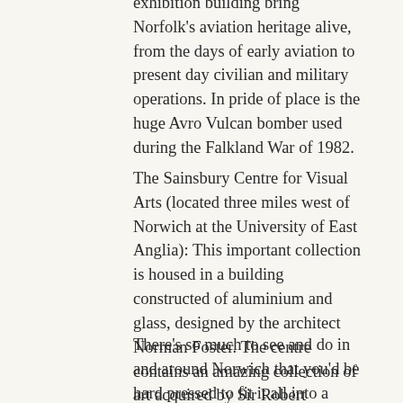exhibition building bring Norfolk's aviation heritage alive, from the days of early aviation to present day civilian and military operations. In pride of place is the huge Avro Vulcan bomber used during the Falkland War of 1982.
The Sainsbury Centre for Visual Arts (located three miles west of Norwich at the University of East Anglia): This important collection is housed in a building constructed of aluminium and glass, designed by the architect Norman Foster. The centre contains an amazing collection of art acquired by Sir Robert Sainsbury.
There's so much to see and do in and around Norwich that you'd be hard pressed to fit it all into a short weekend break. But if you take in just a few of the